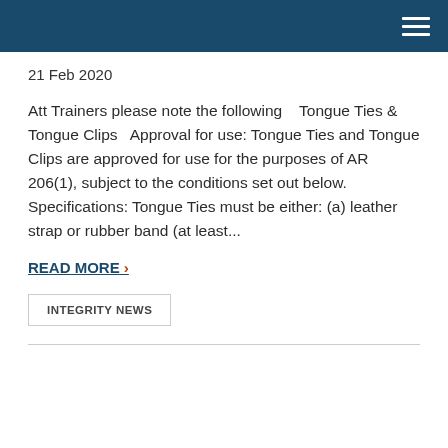21 Feb 2020
Att Trainers please note the following    Tongue Ties & Tongue Clips   Approval for use: Tongue Ties and Tongue Clips are approved for use for the purposes of AR 206(1), subject to the conditions set out below. Specifications: Tongue Ties must be either: (a) leather strap or rubber band (at least...
READ MORE >
INTEGRITY NEWS